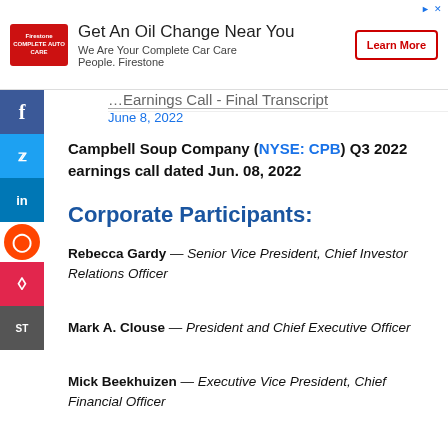[Figure (other): Firestone advertisement banner: Get An Oil Change Near You. We Are Your Complete Car Care People. Firestone. Learn More button.]
Earnings Call - Final Transcript
June 8, 2022
Campbell Soup Company (NYSE: CPB) Q3 2022 earnings call dated Jun. 08, 2022
Corporate Participants:
Rebecca Gardy — Senior Vice President, Chief Investor Relations Officer
Mark A. Clouse — President and Chief Executive Officer
Mick Beekhuizen — Executive Vice President, Chief Financial Officer